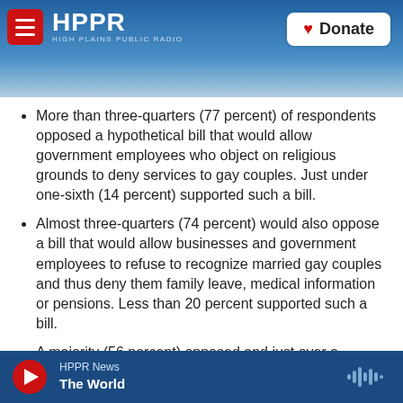HPPR HIGH PLAINS PUBLIC RADIO | Donate
More than three-quarters (77 percent) of respondents opposed a hypothetical bill that would allow government employees who object on religious grounds to deny services to gay couples. Just under one-sixth (14 percent) supported such a bill.
Almost three-quarters (74 percent) would also oppose a bill that would allow businesses and government employees to refuse to recognize married gay couples and thus deny them family leave, medical information or pensions. Less than 20 percent supported such a bill.
A majority (56 percent) opposed and just over a
HPPR News | The World